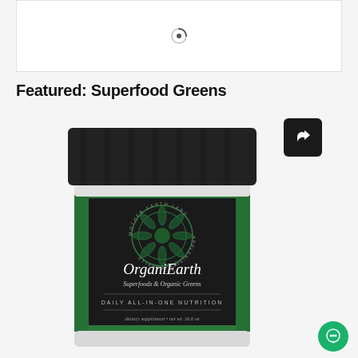[Figure (screenshot): Loading placeholder with spinner icon]
Featured: Superfood Greens
[Figure (photo): OrganiEarth Superfoods & Organic Greens product container with black lid, green label with mandala design. Text on label: MOTHER EARTH LABS - APPLENISH NATURALLY, OrganiEarth, Superfoods & Organic Greens, DAILY ALL-IN-ONE NUTRITION, dietary supplement • net wt. 16.6 oz]